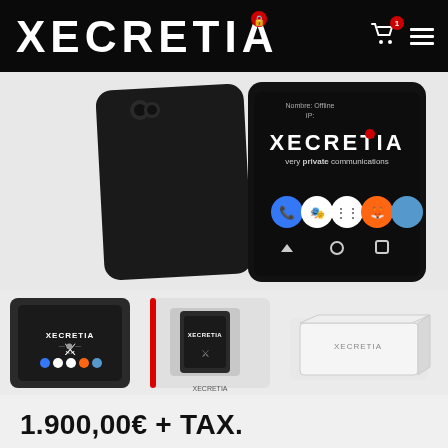XECRETIA — navigation header with cart and menu icons
[Figure (photo): Large product photo of a black smartphone showing the Xecretia branded screen with app icons visible. The back of the phone is also shown.]
[Figure (photo): Three product thumbnail images: (1) black Xecretia smartphone front, (2) phone in packaging box with red stripe, (3) white box packaging.]
1.900,00€ + TAX.